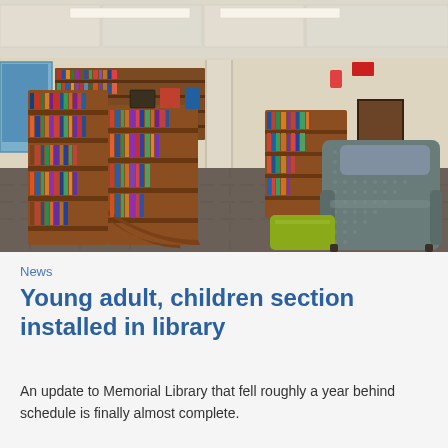[Figure (photo): Interior of a library showing wooden curved bookshelves filled with books, a patterned gray armchair with a yellow-green ottoman, carpeted floor, and fluorescent ceiling lights.]
News
Young adult, children section installed in library
An update to Memorial Library that fell roughly a year behind schedule is finally almost complete.